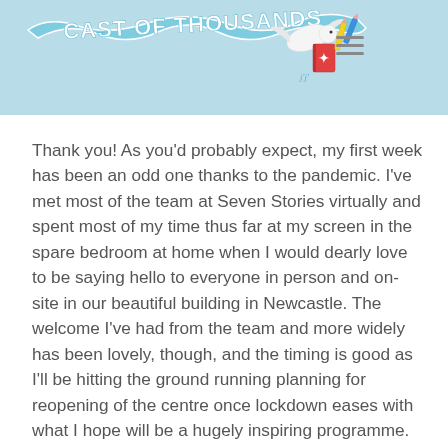[Figure (logo): Cast of Thousands logo — wavy blue banner with hand-lettered text 'CAST OF THOUSANDS', with an illustrated bird carrying a book and pencils]
Thank you! As you'd probably expect, my first week has been an odd one thanks to the pandemic. I've met most of the team at Seven Stories virtually and spent most of my time thus far at my screen in the spare bedroom at home when I would dearly love to be saying hello to everyone in person and on-site in our beautiful building in Newcastle. The welcome I've had from the team and more widely has been lovely, though, and the timing is good as I'll be hitting the ground running planning for reopening of the centre once lockdown eases with what I hope will be a hugely inspiring programme.